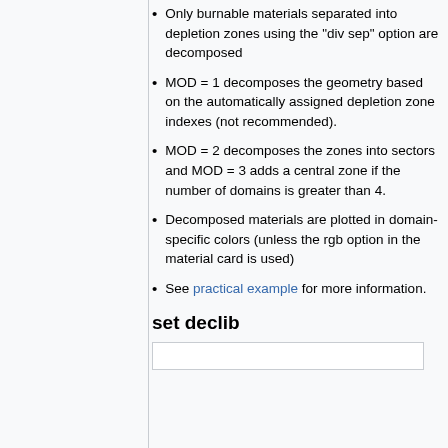Only burnable materials separated into depletion zones using the "div sep" option are decomposed
MOD = 1 decomposes the geometry based on the automatically assigned depletion zone indexes (not recommended).
MOD = 2 decomposes the zones into sectors and MOD = 3 adds a central zone if the number of domains is greater than 4.
Decomposed materials are plotted in domain-specific colors (unless the rgb option in the material card is used)
See practical example for more information.
set declib